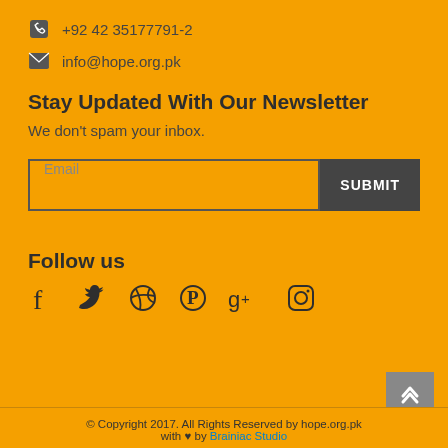+92 42 35177791-2
info@hope.org.pk
Stay Updated With Our Newsletter
We don't spam your inbox.
Email  SUBMIT
Follow us
[Figure (infographic): Social media icons: Facebook, Twitter, Dribbble, Pinterest, Google+, Instagram]
© Copyright 2017. All Rights Reserved by hope.org.pk with ♥ by Brainiac Studio